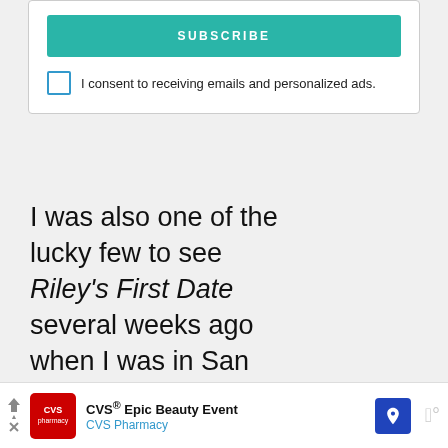SUBSCRIBE
I consent to receiving emails and personalized ads.
I was also one of the lucky few to see Riley's First Date several weeks ago when I was in San Francisco for a Disney press trip celebrating The Good Dinosaur and the home release of Inside Out!
[Figure (screenshot): What's Next widget with thumbnail and text: Josh Cooley and Mark...]
[Figure (screenshot): CVS Epic Beauty Event advertisement banner with CVS Pharmacy logo and navigation arrow icon]